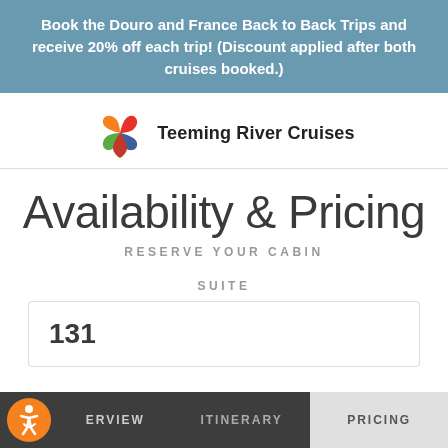Book the Douro and France Back to Back Trips and receive 20% off each trip! (Discount applied after both cruises booked.)
[Figure (logo): Teeming River Cruises logo with colorful pinwheel/flower icon and company name]
Availability & Pricing
RESERVE YOUR CABIN
SUITE
131
ERVIEW  ITINERARY  PRICING